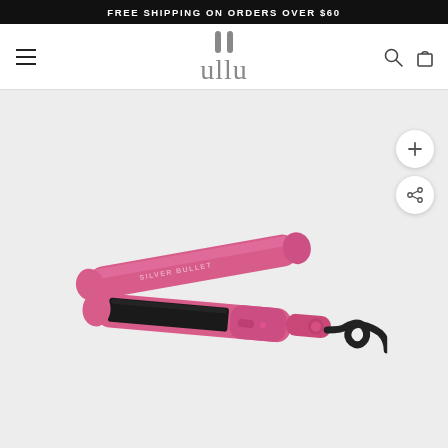FREE SHIPPING ON ORDERS OVER $60
[Figure (logo): ullu brand logo in grey serif-style font with two vertical strokes above]
[Figure (photo): Pink SILVER BULLET hair straightener/flat iron on light grey background, with black ceramic plates visible and coiled black power cord]
[Figure (other): Plus (zoom in) button circle, and share button circle on the right side of product image]